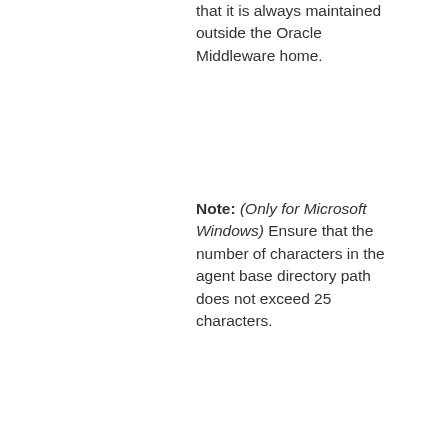that it is always maintained outside the Oracle Middleware home.
Note: (Only for Microsoft Windows) Ensure that the number of characters in the agent base directory path does not exceed 25 characters.